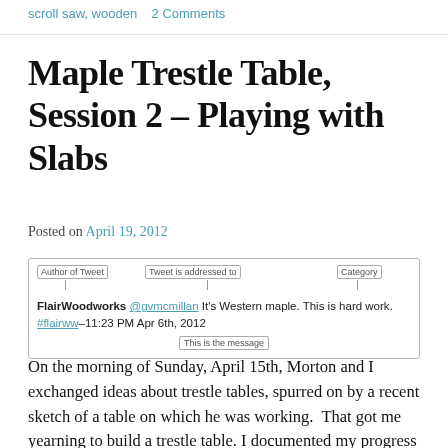scroll saw, wooden   2 Comments
Maple Trestle Table, Session 2 – Playing with Slabs
Posted on April 19, 2012
[Figure (screenshot): Annotated tweet from FlairWoodworks to @gvmcmillan: 'It's Western maple. This is hard work. #flairww – 11:23 PM Apr 6th, 2012'. Labels indicate: Author of Tweet, Tweet is addressed to, Category, This is the message.]
On the morning of Sunday, April 15th, Morton and I exchanged ideas about trestle tables, spurred on by a recent sketch of a table on which he was working.  That got me yearning to build a trestle table. I documented my progress live on Twitter, which you can follow by searching...